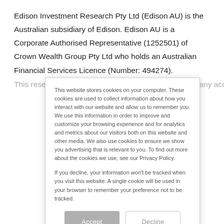Edison Investment Research Pty Ltd (Edison AU) is the Australian subsidiary of Edison. Edison AU is a Corporate Authorised Representative (1252501) of Crown Wealth Group Pty Ltd who holds an Australian Financial Services Licence (Number: 494274).
This research is issued in Australia by Edison AU and any access to it
This website stores cookies on your computer. These cookies are used to collect information about how you interact with our website and allow us to remember you. We use this information in order to improve and customize your browsing experience and for analytics and metrics about our visitors both on this website and other media. We also use cookies to ensure we show you advertising that is relevant to you. To find out more about the cookies we use, see our Privacy Policy.

If you decline, your information won't be tracked when you visit this website. A single cookie will be used in your browser to remember your preference not to be tracked.